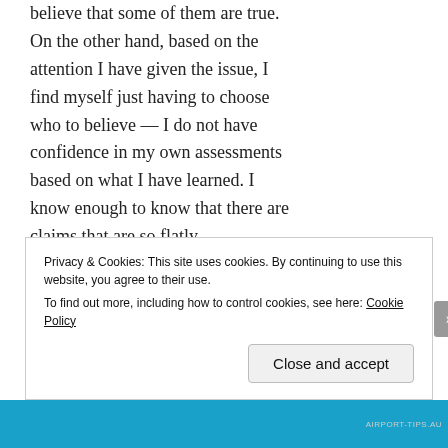believe that some of them are true. On the other hand, based on the attention I have given the issue, I find myself just having to choose who to believe — I do not have confidence in my own assessments based on what I have learned. I know enough to know that there are claims that are so flatly contradictory that someone is clearly wrong (or both sides are wrong in their stated certainty). I would like to make a study of the issue to see if I can figure out who
Privacy & Cookies: This site uses cookies. By continuing to use this website, you agree to their use.
To find out more, including how to control cookies, see here: Cookie Policy
Close and accept